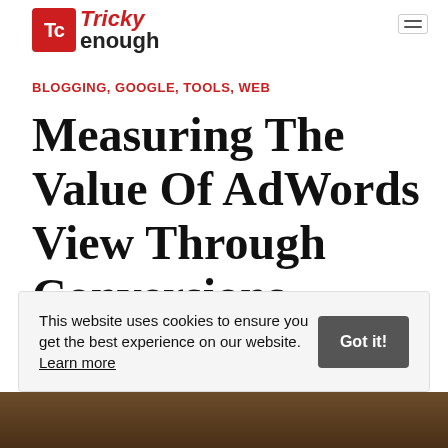Tricky Enough
BLOGGING, GOOGLE, TOOLS, WEB
Measuring The Value Of AdWords View Through Conversions
Written by Beatrice Howell
This website uses cookies to ensure you get the best experience on our website. Learn more